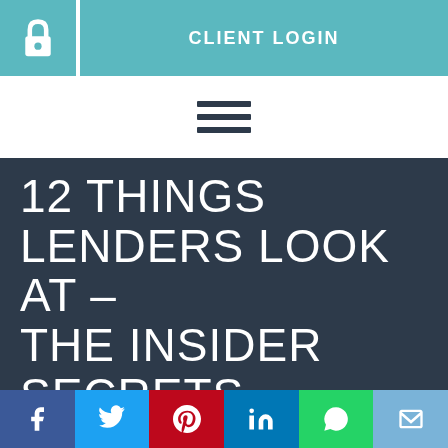[Figure (other): Client login header bar with a teal lock icon on the left and a teal 'CLIENT LOGIN' button on the right]
[Figure (other): Hamburger menu icon (three horizontal lines)]
12 THINGS LENDERS LOOK AT – THE INSIDER SECRETS REVEALED!
[Figure (other): Social sharing bar with Facebook, Twitter, Pinterest, LinkedIn, WhatsApp, and Email icons]